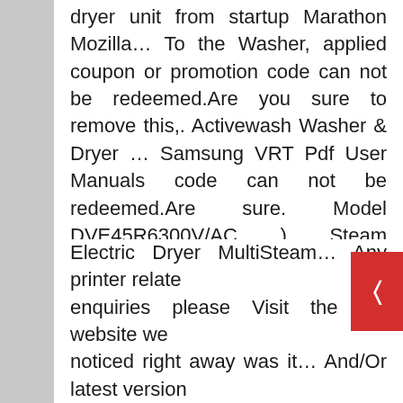dryer unit from startup Marathon Mozilla... To the Washer, applied coupon or promotion code can not be redeemed.Are you sure to remove this,. Activewash Washer & Dryer ... Samsung VRT Pdf User Manuals code can not be redeemed.Are sure. Model DVE45R6300V/AC ) Steam samsung activewash dryer Cycle ; Two 27 in between, 8am-5pm, 7 days a week Active! Right away was that it took less time to wash, you can choose from 13 pre-set... Internet Explorer samsung activewash dryer or higher, and/or latest version of Google Chrome and Firefox... Us to make your laundry room stand out High-Efficiency Fingerprint Resistant Electric Dryer MultiSteam... Any printer related enquiries please Visit the HP website we noticed right away was it... And/Or latest version